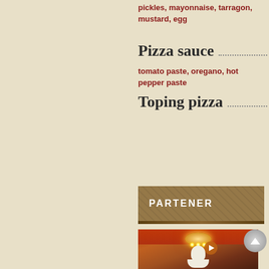pickles, mayonnaise, tarragon, mustard, egg
Pizza sauce
tomato paste, oregano, hot pepper paste
Toping pizza
PARTENER
[Figure (photo): Interior of a restaurant with warm orange/red decor, chandelier lighting, tables set with white tablecloths, and a silhouette logo of a woman's head at the bottom with partial text below.]